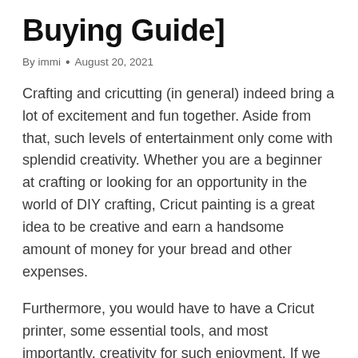Buying Guide]
By immi • August 20, 2021
Crafting and cricutting (in general) indeed bring a lot of excitement and fun together. Aside from that, such levels of entertainment only come with splendid creativity. Whether you are a beginner at crafting or looking for an opportunity in the world of DIY crafting, Cricut painting is a great idea to be creative and earn a handsome amount of money for your bread and other expenses.
Furthermore, you would have to have a Cricut printer, some essential tools, and most importantly, creativity for such enjoyment. If we talk about the